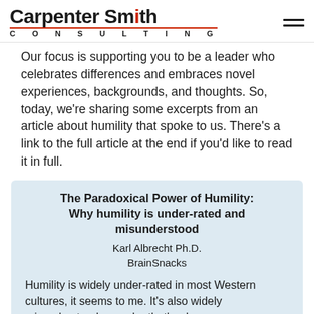Carpenter Smith CONSULTING
Our focus is supporting you to be a leader who celebrates differences and embraces novel experiences, backgrounds, and thoughts. So, today, we're sharing some excerpts from an article about humility that spoke to us. There's a link to the full article at the end if you'd like to read it in full.
The Paradoxical Power of Humility: Why humility is under-rated and misunderstood
Karl Albrecht Ph.D.
BrainSnacks
Humility is widely under-rated in most Western cultures, it seems to me. It's also widely misunderstood – maybe that's why